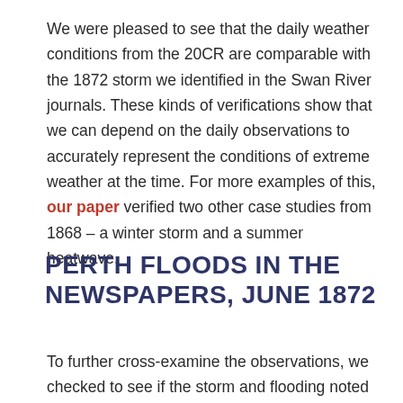We were pleased to see that the daily weather conditions from the 20CR are comparable with the 1872 storm we identified in the Swan River journals. These kinds of verifications show that we can depend on the daily observations to accurately represent the conditions of extreme weather at the time. For more examples of this, our paper verified two other case studies from 1868 – a winter storm and a summer heatwave.
PERTH FLOODS IN THE NEWSPAPERS, JUNE 1872
To further cross-examine the observations, we checked to see if the storm and flooding noted in the Swan River journals was also reported in the newspapers of the